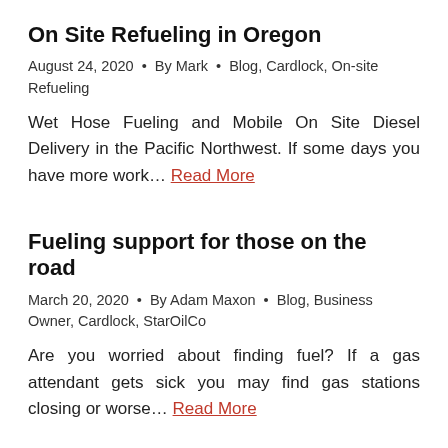On Site Refueling in Oregon
August 24, 2020  •  By Mark  •  Blog, Cardlock, On-site Refueling
Wet Hose Fueling and Mobile On Site Diesel Delivery in the Pacific Northwest. If some days you have more work… Read More
Fueling support for those on the road
March 20, 2020  •  By Adam Maxon  •  Blog, Business Owner, Cardlock, StarOilCo
Are you worried about finding fuel? If a gas attendant gets sick you may find gas stations closing or worse… Read More